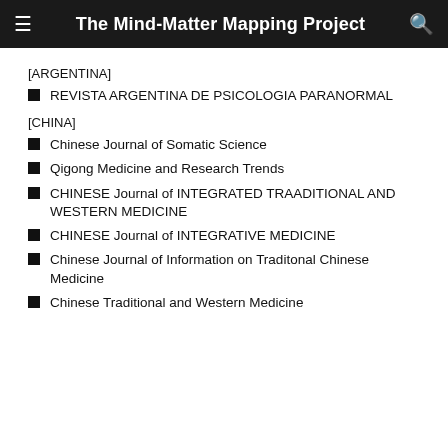The Mind-Matter Mapping Project
[ARGENTINA]
REVISTA ARGENTINA DE PSICOLOGIA PARANORMAL
[CHINA]
Chinese Journal of Somatic Science
Qigong Medicine and Research Trends
CHINESE Journal of INTEGRATED TRAADITIONAL AND WESTERN MEDICINE
CHINESE Journal of INTEGRATIVE MEDICINE
Chinese Journal of Information on Traditonal Chinese Medicine
Chinese Traditional and Western Medicine